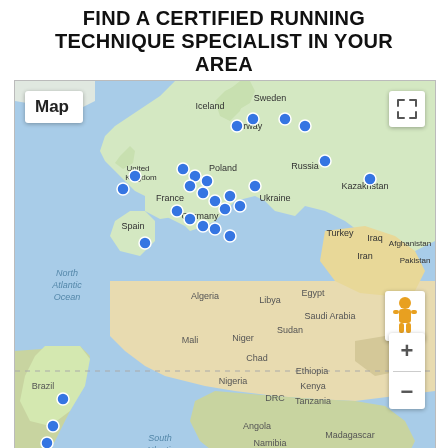FIND A CERTIFIED RUNNING TECHNIQUE SPECIALIST IN YOUR AREA
[Figure (map): Google Maps view showing locations of certified running technique specialists, with blue pins clustered heavily in Western Europe (UK, Netherlands, Germany, France, Belgium, Scandinavia), a few in Eastern Europe and Russia, and two in South America (Brazil). Map shows North Atlantic Ocean, Africa, Middle East, and parts of Asia. Includes Map label button, fullscreen button, pegman figure, and zoom controls.]